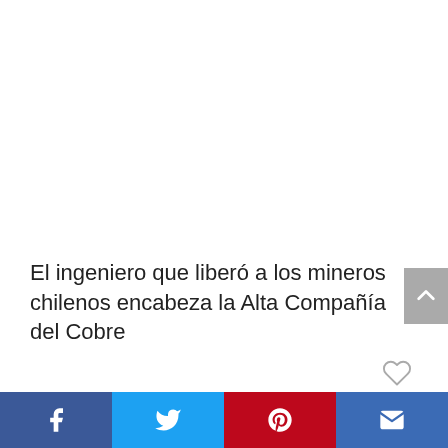El ingeniero que liberó a los mineros chilenos encabeza la Alta Compañía del Cobre
Social share bar: Facebook, Twitter, Pinterest, Email